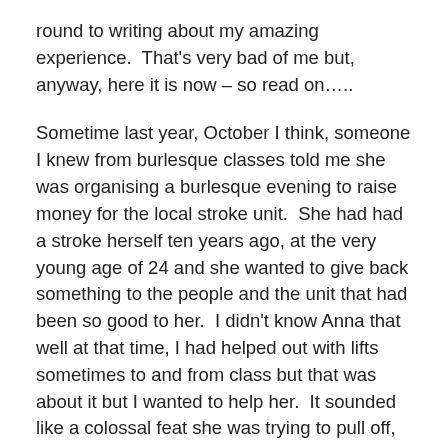round to writing about my amazing experience.  That's very bad of me but, anyway, here it is now – so read on…..
Sometime last year, October I think, someone I knew from burlesque classes told me she was organising a burlesque evening to raise money for the local stroke unit.  She had had a stroke herself ten years ago, at the very young age of 24 and she wanted to give back something to the people and the unit that had been so good to her.  I didn't know Anna that well at that time, I had helped out with lifts sometimes to and from class but that was about it but I wanted to help her.  It sounded like a colossal feat she was trying to pull off, with no experience of putting anything like this on before.  Neither had I but I wanted to help so I offered.  I thought maybe she would need help with phone calls, or fundraising or on the night, I don't know really.  What I was not expecting was for her to ask...